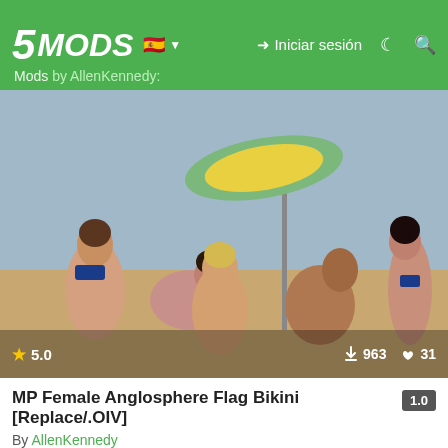5MODS — Iniciar sesión
Mods by AllenKennedy:
[Figure (screenshot): GTA V screenshot showing female characters in bikinis on a beach scene. Rating: 5.0 stars, 963 downloads, 31 likes.]
MP Female Anglosphere Flag Bikini [Replace/.OIV]
By AllenKennedy
[Figure (screenshot): GTA V screenshot showing a character aiming a pistol outdoors. Has an X badge overlay.]